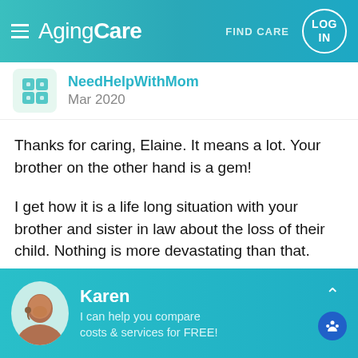AgingCare — FIND CARE  LOG IN
NeedHelpWithMom
Mar 2020
Thanks for caring, Elaine. It means a lot. Your brother on the other hand is a gem!
I get how it is a life long situation with your brother and sister in law about the loss of their child. Nothing is more devastating than that.
I can't imagine how painful that is. It is heartbreaking for them. I am glad that your brother
Karen — I can help you compare costs & services for FREE!